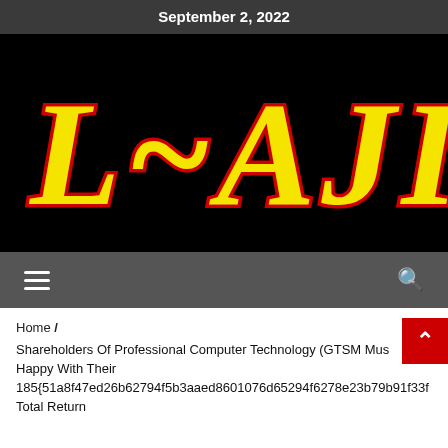September 2, 2022
[Figure (logo): L-AJI logo text in yellow with red outline on black background]
[Figure (other): Navigation bar with hamburger menu icon on left and search icon on right, gray background]
Home /
Shareholders Of Professional Computer Technology (GTSM Must Happy With Their 185{51a8f47ed26b62794f5b3aaed8601076d65294f6278e23b79b91f33f... Total Return